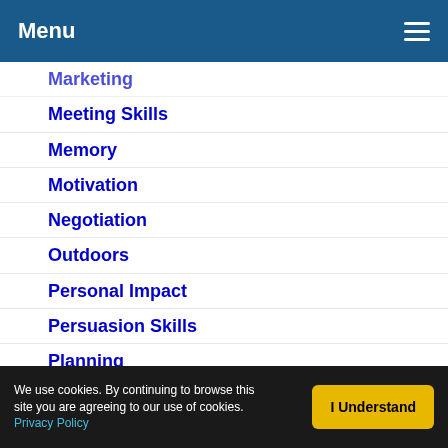Menu
Marketing
Meeting Skills
Memory
Motivation
Negotiation
Outdoors
Personal Impact
Persuasion Skills
Planning
Presentation Skills
Problem Solving
Productivity
Public Speaking
Questioning Skills
Quiz
Report Writing
Resource Management
We use cookies. By continuing to browse this site you are agreeing to our use of cookies. Privacy Policy | I Understand